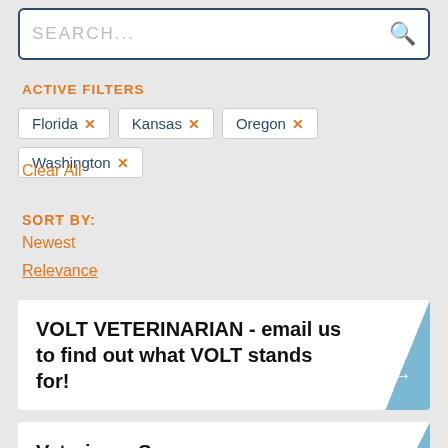[Figure (screenshot): Search input box with placeholder SEARCH... and a magnifying glass icon on the right]
ACTIVE FILTERS
Florida ×
Kansas ×
Oregon ×
Washington ×
Clear All
SORT BY:
Newest
Relevance
VOLT VETERINARIAN - email us to find out what VOLT stands for!
Veterinary Surgeon